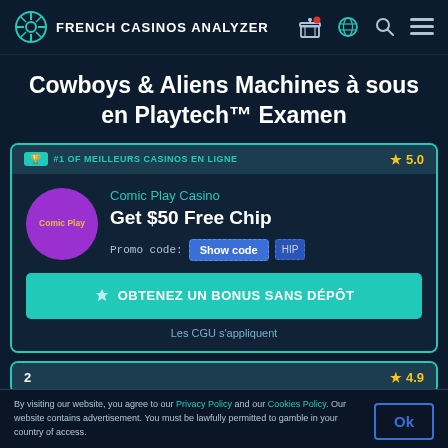FRENCH CASINOS ANALYZER
Cowboys & Aliens Machines à sous en Playtech™ Examen
#1 OF MEILLEURS CASINOS EN LIGNE — 5.0
Comic Play Casino
Get $50 Free Chip
Promo code: Show code HIP
OBTENEZ UN BONUS SANS DÉPÔT
Les CGU s'appliquent
2 — 4.9
By visiting our website, you agree to our Privacy Policy and our Cookies Policy. Our website contains advertisement. You must be lawfully permitted to gamble in your country of access.